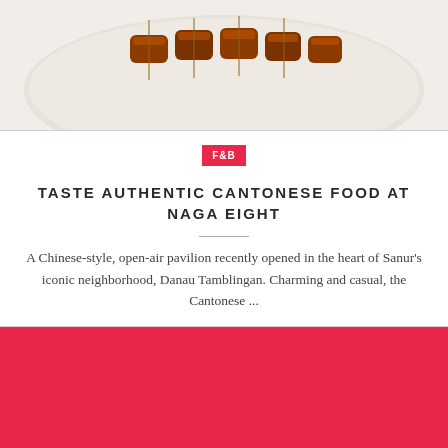[Figure (photo): Partial view of a plate of Chinese/Cantonese food, likely char siu pork or similar glazed meat skewers, on a white plate against a white background.]
F&B
TASTE AUTHENTIC CANTONESE FOOD AT NAGA EIGHT
A Chinese-style, open-air pavilion recently opened in the heart of Sanur's iconic neighborhood, Danau Tamblingan. Charming and casual, the Cantonese ...
[Figure (illustration): Solid red/crimson block filling the bottom portion of the page, with a small upward arrow icon in the bottom right corner.]